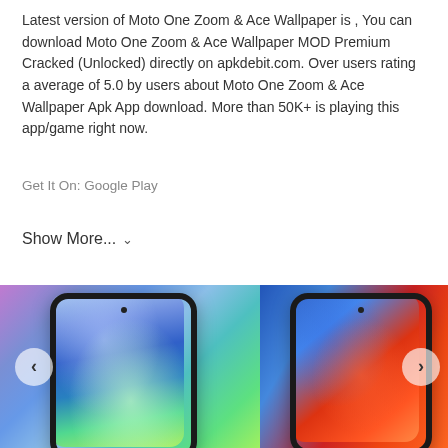Latest version of Moto One Zoom & Ace Wallpaper is , You can download Moto One Zoom & Ace Wallpaper MOD Premium Cracked (Unlocked) directly on apkdebit.com. Over users rating a average of 5.0 by users about Moto One Zoom & Ace Wallpaper Apk App download. More than 50K+ is playing this app/game right now.
Get It On: Google Play
Show More... ∨
[Figure (photo): Two smartphones side by side showing colorful wallpapers. Left phone shows a blue-green gradient abstract wallpaper. Right phone shows a blue-red gradient abstract wallpaper. Navigation arrows visible on left and right sides.]